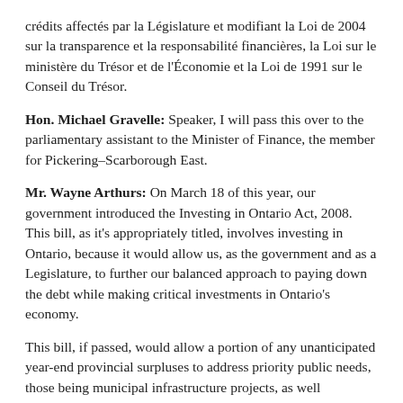crédits affectés par la Législature et modifiant la Loi de 2004 sur la transparence et la responsabilité financières, la Loi sur le ministère du Trésor et de l'Économie et la Loi de 1991 sur le Conseil du Trésor.
Hon. Michael Gravelle: Speaker, I will pass this over to the parliamentary assistant to the Minister of Finance, the member for Pickering–Scarborough East.
Mr. Wayne Arthurs: On March 18 of this year, our government introduced the Investing in Ontario Act, 2008. This bill, as it's appropriately titled, involves investing in Ontario, because it would allow us, as the government and as a Legislature, to further our balanced approach to paying down the debt while making critical investments in Ontario's economy.
This bill, if passed, would allow a portion of any unanticipated year-end provincial surpluses to address priority public needs, those being municipal infrastructure projects, as well